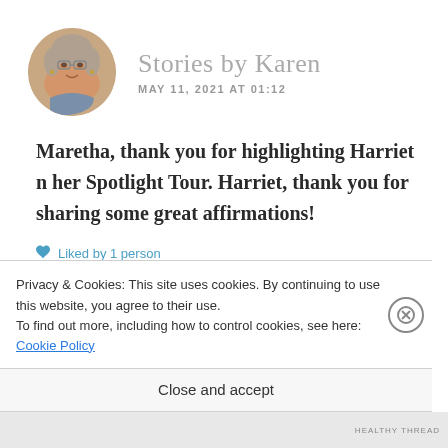[Figure (photo): Circular avatar photo of an older woman with gray hair and glasses, smiling]
Stories by Karen
MAY 11, 2021 AT 01:12
Maretha, thank you for highlighting Harriet n her Spotlight Tour. Harriet, thank you for sharing some great affirmations!
Liked by 1 person
Privacy & Cookies: This site uses cookies. By continuing to use this website, you agree to their use.
To find out more, including how to control cookies, see here: Cookie Policy
Close and accept